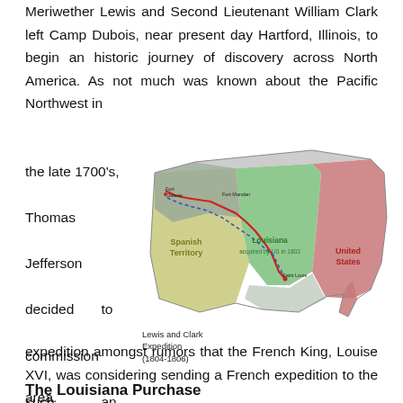Meriwether Lewis and Second Lieutenant William Clark left Camp Dubois, near present day Hartford, Illinois, to begin an historic journey of discovery across North America. As not much was known about the Pacific Northwest in the late 1700's, Thomas Jefferson decided to commission such an expedition amongst rumors that the French King, Louise XVI, was considering sending a French expedition to the area.
[Figure (map): Map of the Lewis and Clark Expedition (1804-1806) showing the route across North America through Spanish Territory, Louisiana Territory (acquired by US in 1803), and the United States.]
Lewis and Clark Expedition (1804-1806)
The Louisiana Purchase